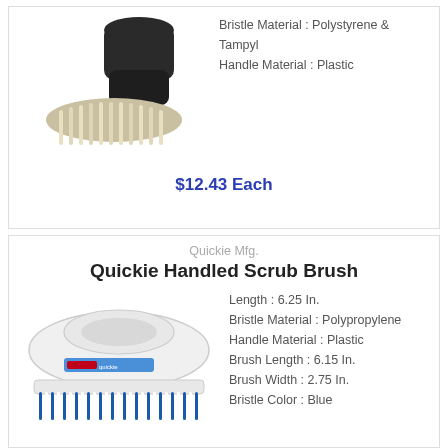[Figure (photo): Dark-handled scrub brush with cream/beige bristles, shown at an angle]
Bristle Material : Polystyrene & Tampyl
Handle Material : Plastic
$12.43 Each
Quickie Mfg.
Quickie Handled Scrub Brush
[Figure (photo): White handled scrub brush with blue and white bristles, Quickie brand label visible]
Length : 6.25 In.
Bristle Material : Polypropylene
Handle Material : Plastic
Brush Length : 6.15 In.
Brush Width : 2.75 In.
Bristle Color : Blue